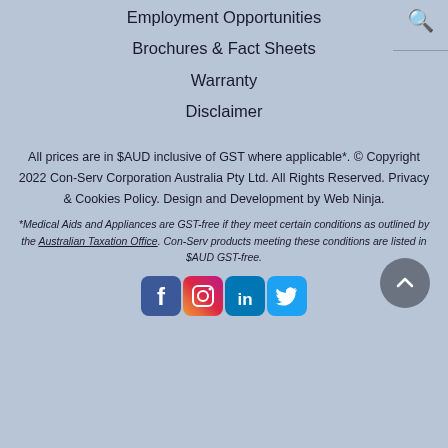Employment Opportunities
Brochures & Fact Sheets
Warranty
Disclaimer
All prices are in $AUD inclusive of GST where applicable*. © Copyright 2022 Con-Serv Corporation Australia Pty Ltd. All Rights Reserved. Privacy & Cookies Policy. Design and Development by Web Ninja.
*Medical Aids and Appliances are GST-free if they meet certain conditions as outlined by the Australian Taxation Office. Con-Serv products meeting these conditions are listed in $AUD GST-free.
[Figure (other): Social media icons for Facebook, Instagram, LinkedIn, and Twitter]